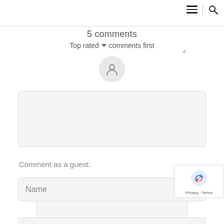[Figure (screenshot): Navigation bar icons: hamburger menu and search icon with vertical divider]
5 comments
Top rated ▾  comments first
[Figure (illustration): User avatar placeholder circle with person silhouette icon]
Enter your comment...
Comment as a guest:
Name
[Figure (logo): reCAPTCHA badge with Privacy and Terms links]